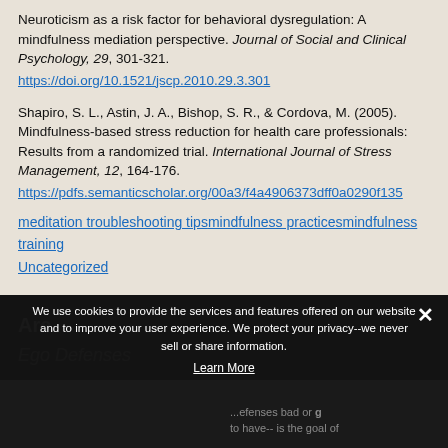Neuroticism as a risk factor for behavioral dysregulation: A mindfulness mediation perspective. Journal of Social and Clinical Psychology, 29, 301-321. https://doi.org/10.1521/jscp.2010.29.3.301
Shapiro, S. L., Astin, J. A., Bishop, S. R., & Cordova, M. (2005). Mindfulness-based stress reduction for health care professionals: Results from a randomized trial. International Journal of Stress Management, 12, 164-176. https://pdfs.semanticscholar.org/00a3/f4a4906373dff0a0290f135...
meditation troubleshooting tipsmindfulness practicesmindfulness training Uncategorized
Are...
Ego Defenses
We use cookies to provide the services and features offered on our website and to improve your user experience. We protect your privacy--we never sell or share information.
Learn More
Okay
...efenses bad or g to have-- is the goal of